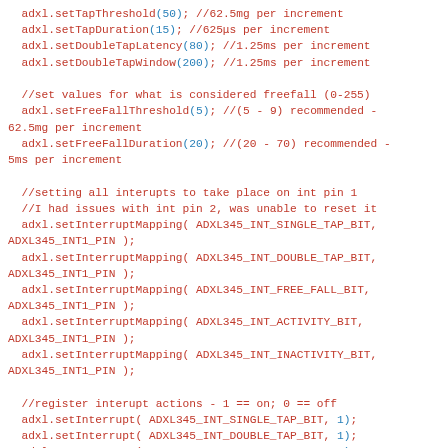[Figure (screenshot): Source code snippet in a monospace editor showing ADXL345 accelerometer configuration: tap threshold/duration, double tap latency/window, freefall threshold/duration, interrupt mapping and interrupt register settings using adxl1 object methods.]